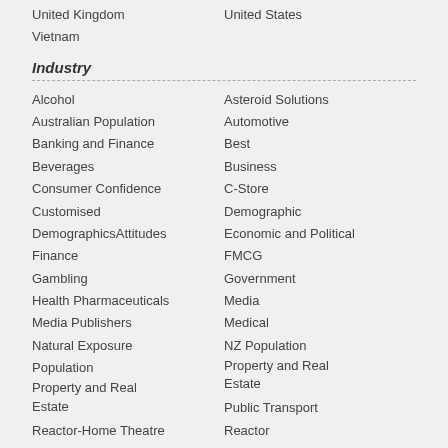United Kingdom
Vietnam
United States
Industry
Alcohol
Australian Population
Banking and Finance
Beverages
Consumer Confidence
Customised
DemographicsAttitudes
Finance
Gambling
Health Pharmaceuticals
Media Publishers
Natural Exposure
Population
Property and Real Estate
Reactor-Home Theatre
Retail
Asteroid Solutions
Automotive
Best
Business
C-Store
Demographic
Economic and Political
FMCG
Government
Media
Medical
NZ Population
Property and Real Estate
Public Transport
Reactor
Reactor-Online
Retail and FMCG